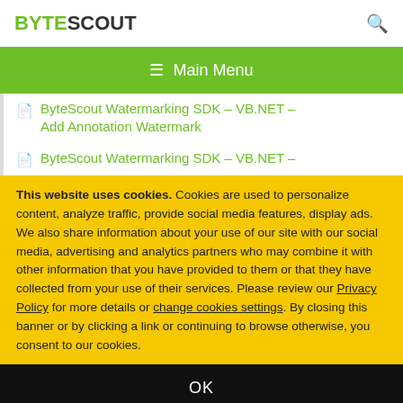BYTESCOUT
ByteScout Watermarking SDK – VB.NET – Add Annotation Watermark
ByteScout Watermarking SDK – VB.NET –
This website uses cookies. Cookies are used to personalize content, analyze traffic, provide social media features, display ads. We also share information about your use of our site with our social media, advertising and analytics partners who may combine it with other information that you have provided to them or that they have collected from your use of their services. Please review our Privacy Policy for more details or change cookies settings. By closing this banner or by clicking a link or continuing to browse otherwise, you consent to our cookies.
OK